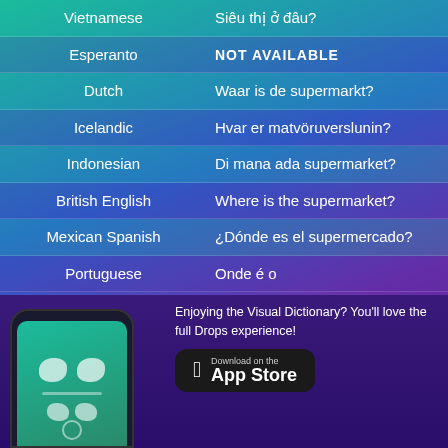| Language | Translation |
| --- | --- |
| Vietnamese | Siêu thị ở đâu? |
| Esperanto | NOT AVAILABLE |
| Dutch | Waar is de supermarkt? |
| Icelandic | Hvar er matvöruverslunin? |
| Indonesian | Di mana ada supermarket? |
| British English | Where is the supermarket? |
| Mexican Spanish | ¿Dónde es el supermercado? |
| Portuguese | Onde é o |
[Figure (screenshot): Phone mockup showing Drops app with visual dictionary icons on a teal screen]
Enjoying the Visual Dictionary? You'll love the full Drops experience!
[Figure (logo): Download on the App Store button]